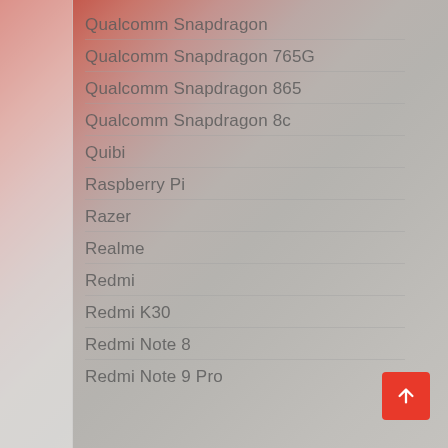Qualcomm Snapdragon
Qualcomm Snapdragon 765G
Qualcomm Snapdragon 865
Qualcomm Snapdragon 8c
Quibi
Raspberry Pi
Razer
Realme
Redmi
Redmi K30
Redmi Note 8
Redmi Note 9 Pro